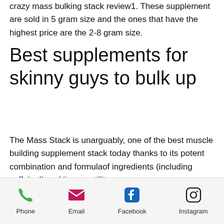crazy mass bulking stack review1. These supplement are sold in 5 gram size and the ones that have the highest price are the 2-8 gram size.
Best supplements for skinny guys to bulk up
The Mass Stack is unarguably, one of the best muscle building supplement stack today thanks to its potent combination and formulaof ingredients (including caffeine!) and its versatility.
A strong, well-conceived bodybuilding formula. For even more information on Muscle Supplements, see my book Muscle
Phone  Email  Facebook  Instagram